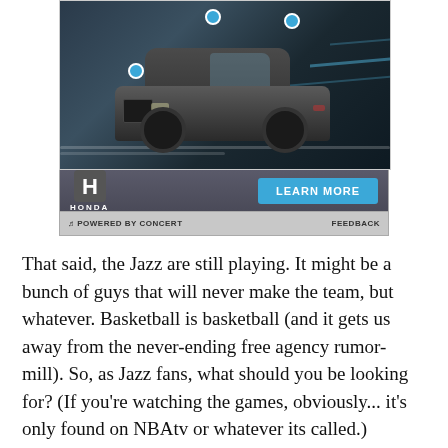[Figure (photo): Honda SUV advertisement showing a dark grey Honda crossover/SUV driving on a road with blue interactive dots overlaid. Contains Honda logo, LEARN MORE button in blue, and a powered by Concert bar at the bottom.]
That said, the Jazz are still playing. It might be a bunch of guys that will never make the team, but whatever. Basketball is basketball (and it gets us away from the never-ending free agency rumor-mill). So, as Jazz fans, what should you be looking for? (If you're watching the games, obviously... it's only found on NBAtv or whatever its called.)
Now obviously not all the players are going to make